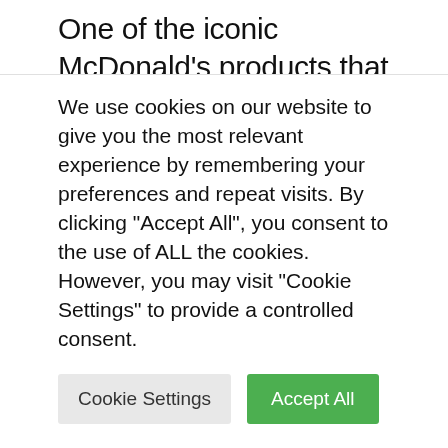One of the iconic McDonald's products that left the Russian market is the Happy Meal children's sets: small portions of food, a drink and a toy. The writing is usually attributed to the company's merchants – sometimes Dick Brahms, sometimes Bob Bernstein. But a few years before its official release worldwide, such sets were sold at the chain restaurants in Guatemala. They were invented by Yolanda Fernandez de Cofiño, a
We use cookies on our website to give you the most relevant experience by remembering your preferences and repeat visits. By clicking "Accept All", you consent to the use of ALL the cookies. However, you may visit "Cookie Settings" to provide a controlled consent.